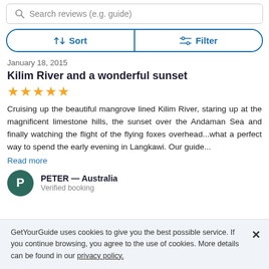Search reviews (e.g. guide)
Sort  Filter
January 18, 2015
Kilim River and a wonderful sunset
★★★★★
Cruising up the beautiful mangrove lined Kilim River, staring up at the magnificent limestone hills, the sunset over the Andaman Sea and finally watching the flight of the flying foxes overhead...what a perfect way to spend the early evening in Langkawi. Our guide...
Read more
PETER — Australia
Verified booking
GetYourGuide uses cookies to give you the best possible service. If you continue browsing, you agree to the use of cookies. More details can be found in our privacy policy.